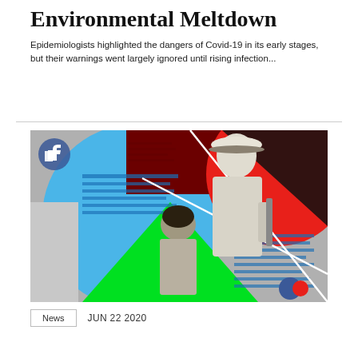Environmental Meltdown
Epidemiologists highlighted the dangers of Covid-19 in its early stages, but their warnings went largely ignored until rising infection...
[Figure (illustration): Collage illustration featuring a black-and-white vintage photograph of two people (a man in a white hat and a woman seated), overlaid with colorful geometric shapes including a large red circle, green triangle, and blue circle, along with blue text overlays on a grey background.]
News   JUN 22 2020